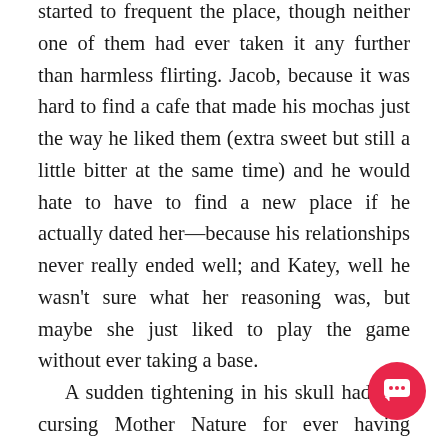started to frequent the place, though neither one of them had ever taken it any further than harmless flirting. Jacob, because it was hard to find a cafe that made his mochas just the way he liked them (extra sweet but still a little bitter at the same time) and he would hate to have to find a new place if he actually dated her—because his relationships never really ended well; and Katey, well he wasn't sure what her reasoning was, but maybe she just liked to play the game without ever taking a base.
    A sudden tightening in his skull had him cursing Mother Nature for ever having invented the flu. His frontal lobe felt uncomfortably full, like his head was a bucket and it was about to overfl... made a mental note to pick up some decongestant